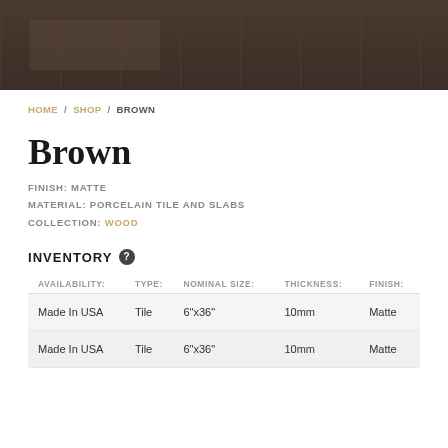[Figure (photo): Dark brown wood-look porcelain tile product hero image]
HOME / SHOP / BROWN
Brown
FINISH: MATTE
MATERIAL: PORCELAIN TILE AND SLABS
COLLECTION: WOOD
INVENTORY
| AVAILABILITY: | TYPE: | NOMINAL SIZE: | THICKNESS: | FINISH: |
| --- | --- | --- | --- | --- |
| Made In USA | Tile | 6"x36" | 10mm | Matte |
| Made In USA | Tile | 6"x36" | 10mm | Matte |